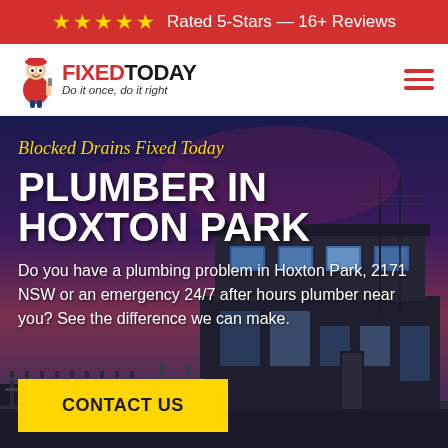★★★★★ Rated 5-Stars — 16+ Reviews
[Figure (logo): Fixed Today plumber logo with mascot character, text FIXED TODAY and tagline Do it once, do it right]
[Figure (photo): Hero image of a modern two-storey house at dusk/night with dark blue and purple sky]
Blocked Drains Fixed Today
PLUMBER IN HOXTON PARK
Do you have a plumbing problem in Hoxton Park, 2171 NSW or an emergency 24/7 after hours plumber near you? See the difference we can make.
CONTACT US